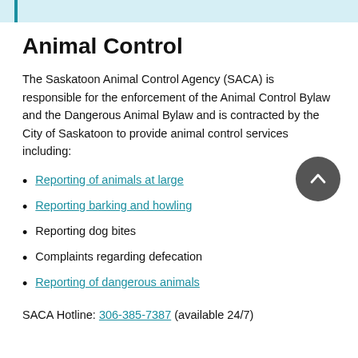Animal Control
The Saskatoon Animal Control Agency (SACA) is responsible for the enforcement of the Animal Control Bylaw and the Dangerous Animal Bylaw and is contracted by the City of Saskatoon to provide animal control services including:
Reporting of animals at large
Reporting barking and howling
Reporting dog bites
Complaints regarding defecation
Reporting of dangerous animals
SACA Hotline: 306-385-7387 (available 24/7)